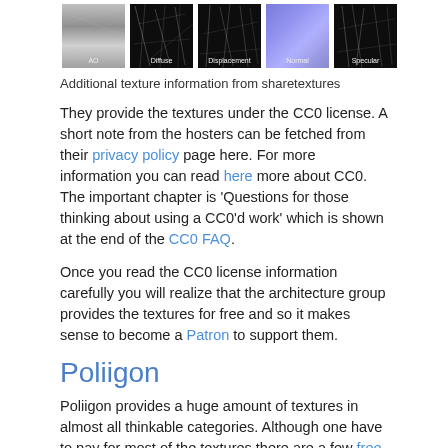[Figure (illustration): Five texture map thumbnails in a row: AO (ambient occlusion, grey gradient), Diffuse (dark with fine lines), Displacement (dark with fine lines), Normal (blue/purple gradient), Specular (dark with fine lines). Labels at bottom of each thumbnail.]
Additional texture information from sharetextures
They provide the textures under the CC0 license. A short note from the hosters can be fetched from their privacy policy page here. For more information you can read here more about CC0. The important chapter is 'Questions for those thinking about using a CC0'd work' which is shown at the end of the CC0 FAQ.
Once you read the CC0 license information carefully you will realize that the architecture group provides the textures for free and so it makes sense to become a Patron to support them.
Poliigon
Poliigon provides a huge amount of textures in almost all thinkable categories. Although one have to pay for most of the textures there are a few free available textures available as well. You just have to apply the 'Refine by' filter to 'free'.